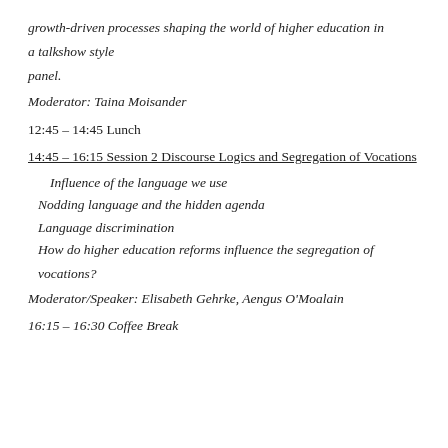growth-driven processes shaping the world of higher education in a talkshow style panel.
Moderator: Taina Moisander
12:45 – 14:45 Lunch
14:45 – 16:15 Session 2 Discourse Logics and Segregation of Vocations
Influence of the language we use
Nodding language and the hidden agenda
Language discrimination
How do higher education reforms influence the segregation of vocations?
Moderator/Speaker: Elisabeth Gehrke, Aengus O'Moalain
16:15 – 16:30 Coffee Break